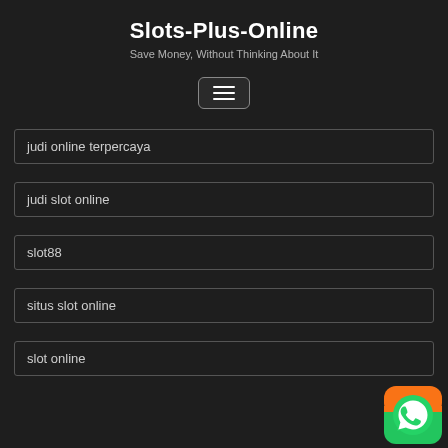Slots-Plus-Online
Save Money, Without Thinking About It
[Figure (other): Hamburger menu button icon with three horizontal lines inside a rounded rectangle border]
judi online terpercaya
judi slot online
slot88
situs slot online
slot online
[Figure (logo): WhatsApp logo icon with green and orange background in bottom right corner]